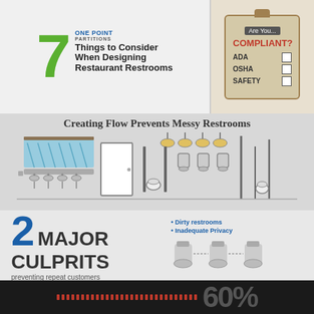[Figure (infographic): One Point Partitions logo with large green 7 and text '7 Things to Consider When Designing Restaurant Restrooms']
[Figure (infographic): Clipboard graphic with 'Are You... COMPLIANT?' header and checkboxes for ADA, OSHA, SAFETY]
Creating Flow Prevents Messy Restrooms
[Figure (illustration): Line drawing of restaurant restroom layout showing sinks with mirror, stalls with toilets, and urinals]
[Figure (infographic): 2 MAJOR CULPRITS preventing repeat customers — Dirty restrooms, Inadequate Privacy, with toilet icons]
[Figure (infographic): Bottom dark section with red dots and large percentage number partially visible]